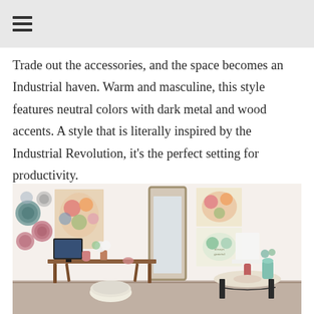≡
Trade out the accessories, and the space becomes an Industrial haven. Warm and masculine, this style features neutral colors with dark metal and wood accents. A style that is literally inspired by the Industrial Revolution, it's the perfect setting for productivity.
[Figure (photo): Interior design photo showing a bohemian/feminine styled room with a wooden writing desk, floral wall art, decorative paper flower wall hangings, a tall ornate floor mirror, a white tufted pouf, a side table with a pink lamp, floral artwork canvases, and decorative accessories in pink, teal and neutral tones against a white wall.]